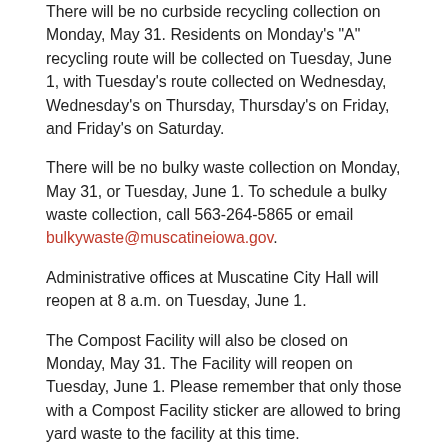There will be no curbside recycling collection on Monday, May 31. Residents on Monday's "A" recycling route will be collected on Tuesday, June 1, with Tuesday's route collected on Wednesday, Wednesday's on Thursday, Thursday's on Friday, and Friday's on Saturday.
There will be no bulky waste collection on Monday, May 31, or Tuesday, June 1. To schedule a bulky waste collection, call 563-264-5865 or email bulkywaste@muscatineiowa.gov.
Administrative offices at Muscatine City Hall will reopen at 8 a.m. on Tuesday, June 1.
The Compost Facility will also be closed on Monday, May 31. The Facility will reopen on Tuesday, June 1. Please remember that only those with a Compost Facility sticker are allowed to bring yard waste to the facility at this time.
[Figure (other): Social media sharing buttons: Facebook, Twitter, LinkedIn, Pinterest, Google+, Email, and a scroll-to-top button]
« PREVIOUS